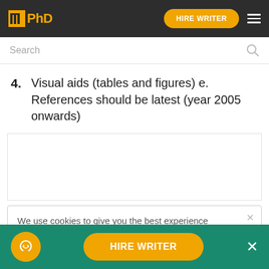IPhD — HIRE WRITER
Search
4. Visual aids (tables and figures) e. References should be latest (year 2005 onwards)
[Figure (other): Empty advertisement or content placeholder box]
We use cookies to give you the best experience possible. By continuing we'll assume you're on board with our cookie policy
HIRE WRITER